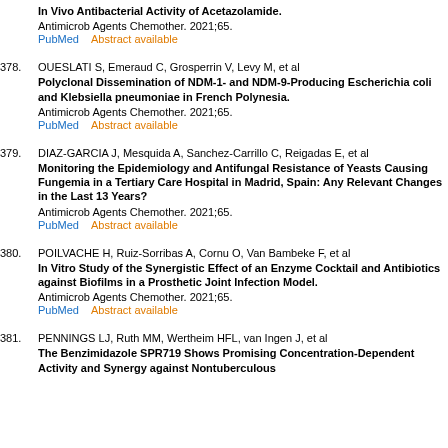In Vivo Antibacterial Activity of Acetazolamide.
Antimicrob Agents Chemother. 2021;65.
PubMed   Abstract available
378. OUESLATI S, Emeraud C, Grosperrin V, Levy M, et al
Polyclonal Dissemination of NDM-1- and NDM-9-Producing Escherichia coli and Klebsiella pneumoniae in French Polynesia.
Antimicrob Agents Chemother. 2021;65.
PubMed   Abstract available
379. DIAZ-GARCIA J, Mesquida A, Sanchez-Carrillo C, Reigadas E, et al
Monitoring the Epidemiology and Antifungal Resistance of Yeasts Causing Fungemia in a Tertiary Care Hospital in Madrid, Spain: Any Relevant Changes in the Last 13 Years?
Antimicrob Agents Chemother. 2021;65.
PubMed   Abstract available
380. POILVACHE H, Ruiz-Sorribas A, Cornu O, Van Bambeke F, et al
In Vitro Study of the Synergistic Effect of an Enzyme Cocktail and Antibiotics against Biofilms in a Prosthetic Joint Infection Model.
Antimicrob Agents Chemother. 2021;65.
PubMed   Abstract available
381. PENNINGS LJ, Ruth MM, Wertheim HFL, van Ingen J, et al
The Benzimidazole SPR719 Shows Promising Concentration-Dependent Activity and Synergy against Nontuberculous